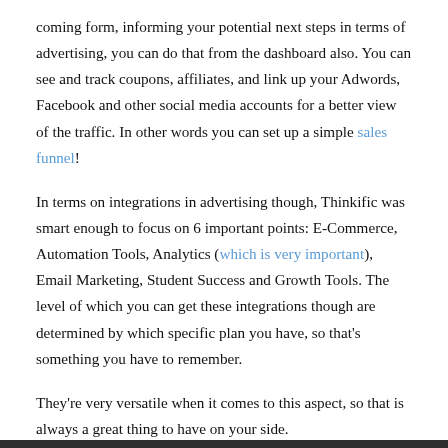coming form, informing your potential next steps in terms of advertising, you can do that from the dashboard also. You can see and track coupons, affiliates, and link up your Adwords, Facebook and other social media accounts for a better view of the traffic. In other words you can set up a simple sales funnel!
In terms on integrations in advertising though, Thinkific was smart enough to focus on 6 important points: E-Commerce, Automation Tools, Analytics (which is very important), Email Marketing, Student Success and Growth Tools. The level of which you can get these integrations though are determined by which specific plan you have, so that's something you have to remember.
They're very versatile when it comes to this aspect, so that is always a great thing to have on your side.
And speaking of those that are on your side.